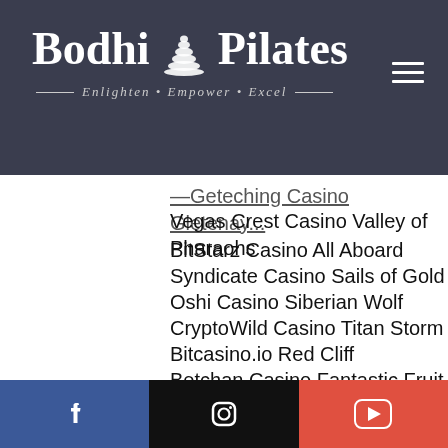[Figure (logo): Bodhi Pilates logo with stacked stones icon, text 'Bodhi Pilates' and tagline 'Enlighten • Empower • Excel' on dark navy background with hamburger menu icon]
—Geteching Casino Gletenay...
Vegas Crest Casino Valley of Pharaohs
BitStarz Casino All Aboard
Syndicate Casino Sails of Gold
Oshi Casino Siberian Wolf
CryptoWild Casino Titan Storm
Bitcasino.io Red Cliff
Betchan Casino Fantastic Fruit
BetChain Casino Fruit vs Candy
BitcoinCasino.us Guns N' Roses
Sportsbet.io Burning Desire
Betcoin.ag Casino Hot 777
Mars Casino Money Monkey
[Figure (other): Back to top button - black square with white chevron/caret pointing up]
Social media links: Facebook, Instagram, YouTube